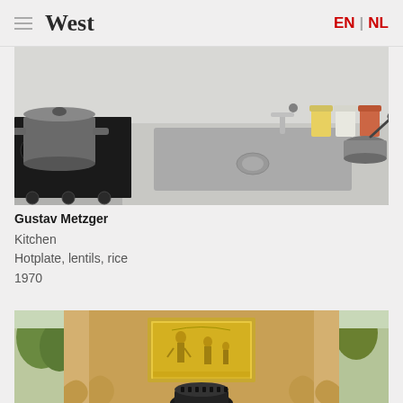West  EN | NL
[Figure (photo): Kitchen countertop with stainless steel sink, gas hob with cooking pot, jars of lentils and rice, and small bowl with ladle]
Gustav Metzger
Kitchen
Hotplate, lentils, rice
1970
[Figure (photo): Wooden cabinet or fireplace surround with a framed illuminated artwork showing figures, and a circular device at the bottom, photographed in an ornate room with windows showing trees outside]